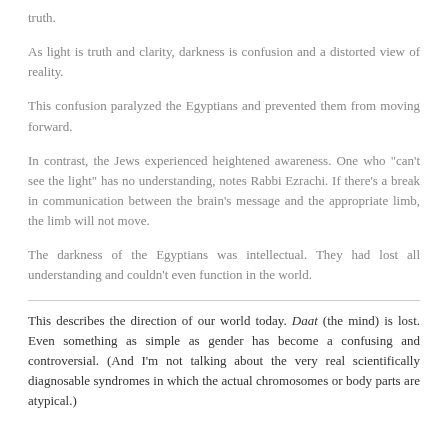truth.
As light is truth and clarity, darkness is confusion and a distorted view of reality.
This confusion paralyzed the Egyptians and prevented them from moving forward.
In contrast, the Jews experienced heightened awareness. One who "can't see the light" has no understanding, notes Rabbi Ezrachi. If there's a break in communication between the brain's message and the appropriate limb, the limb will not move.
The darkness of the Egyptians was intellectual. They had lost all understanding and couldn't even function in the world.
This describes the direction of our world today. Daat (the mind) is lost. Even something as simple as gender has become a confusing and controversial. (And I'm not talking about the very real scientifically diagnosable syndromes in which the actual chromosomes or body parts are atypical.)